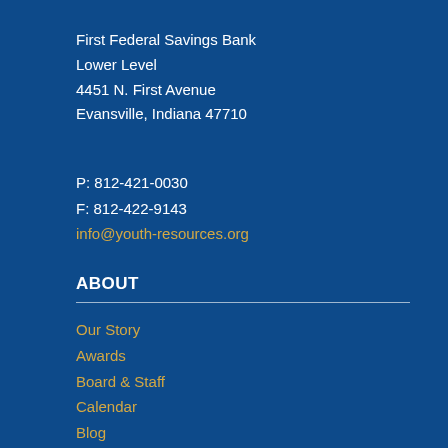First Federal Savings Bank
Lower Level
4451 N. First Avenue
Evansville, Indiana 47710
P: 812-421-0030
F: 812-422-9143
info@youth-resources.org
ABOUT
Our Story
Awards
Board & Staff
Calendar
Blog
Resources